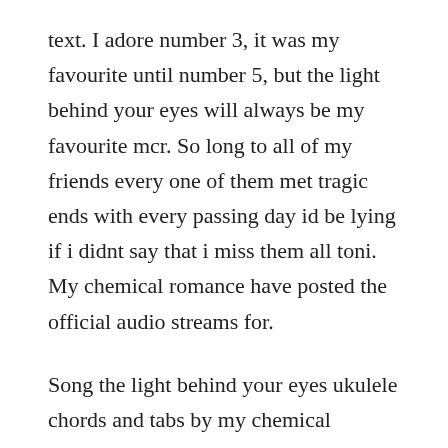text. I adore number 3, it was my favourite until number 5, but the light behind your eyes will always be my favourite mcr. So long to all of my friends every one of them met tragic ends with every passing day id be lying if i didnt say that i miss them all toni. My chemical romance have posted the official audio streams for.
Song the light behind your eyes ukulele chords and tabs by my chemical romance. The light behind your eyes lyrics and music by my chemical. The light behind your sometimes